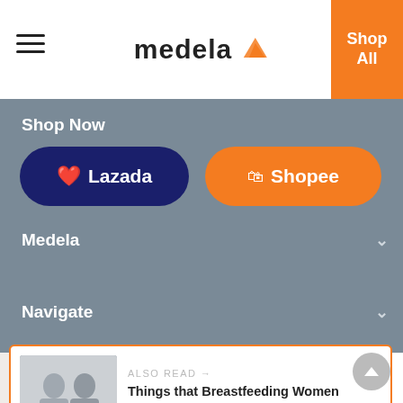medela
Shop All
Shop Now
Lazada
Shopee
Medela
Navigate
ALSO READ →
Things that Breastfeeding Women Would Like to Say to Their Partners
Join the Medela Family and exclusive offers